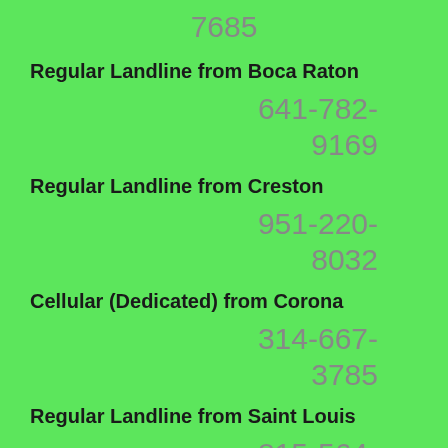7685
Regular Landline from Boca Raton
641-782-9169
Regular Landline from Creston
951-220-8032
Cellular (Dedicated) from Corona
314-667-3785
Regular Landline from Saint Louis
815-564-9587